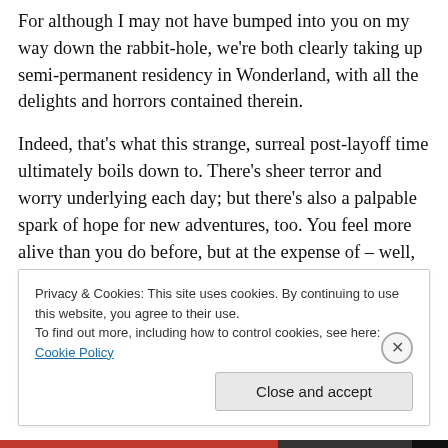For although I may not have bumped into you on my way down the rabbit-hole, we're both clearly taking up semi-permanent residency in Wonderland, with all the delights and horrors contained therein.
Indeed, that's what this strange, surreal post-layoff time ultimately boils down to. There's sheer terror and worry underlying each day; but there's also a palpable spark of hope for new adventures, too. You feel more alive than you do before, but at the expense of – well, being able to
Privacy & Cookies: This site uses cookies. By continuing to use this website, you agree to their use.
To find out more, including how to control cookies, see here: Cookie Policy
Close and accept